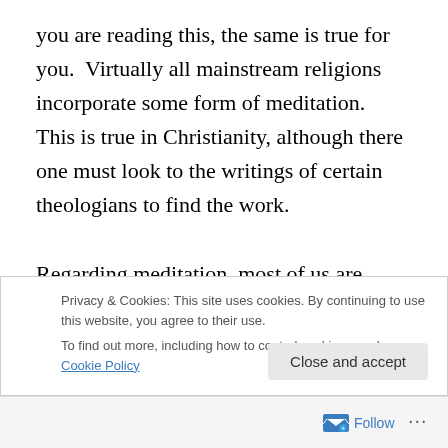you are reading this, the same is true for you.  Virtually all mainstream religions incorporate some form of meditation.  This is true in Christianity, although there one must look to the writings of certain theologians to find the work.

Regarding meditation, most of us are typically given a mental image of someone sitting in a Lotus position and accompanied by certain props, such as incense or candles.  This is all good theatre, but if your experiences have been like mine you have achieved little results from
Privacy & Cookies: This site uses cookies. By continuing to use this website, you agree to their use.
To find out more, including how to control cookies, see here: Cookie Policy
Close and accept
Follow ···